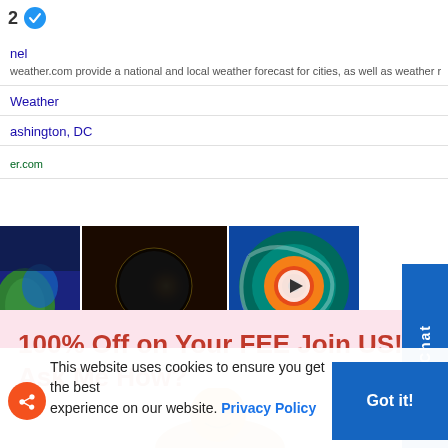2 ✓
nel
weather.com provide a national and local weather forecast for cities, as well as weather r
Weather
ashington, DC
er.com
[Figure (photo): Three thumbnail images: satellite earth view, solar eclipse, hurricane aerial view with play button]
Live Chat
100% Off on Your FEE Join US! Ask Me How?
[Figure (illustration): Cartoon avatar with orange head and beige body]
This website uses cookies to ensure you get the best experience on our website. Privacy Policy
Got it!